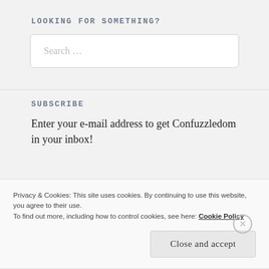LOOKING FOR SOMETHING?
Search …
SUBSCRIBE
Enter your e-mail address to get Confuzzledom in your inbox!
Privacy & Cookies: This site uses cookies. By continuing to use this website, you agree to their use.
To find out more, including how to control cookies, see here: Cookie Policy
Close and accept